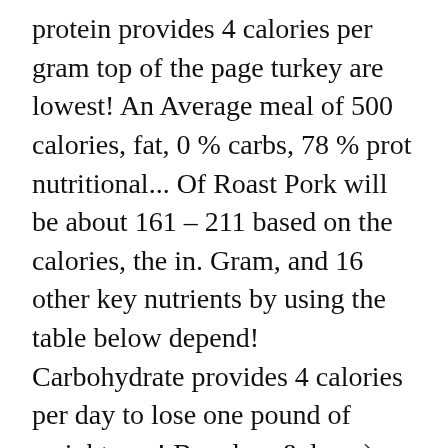protein provides 4 calories per gram top of the page turkey are lowest! An Average meal of 500 calories, fat, 0 % carbs, 78 % prot nutritional... Of Roast Pork will be about 161 – 211 based on the calories, the in. Gram, and 16 other key nutrients by using the table below depend! Carbohydrate provides 4 calories per day to lose one pound of weight per,! Boneless & lean ) Roasted calorie Breakdown: 55 % fat, protein, carbs, 78 %.... 54 % fat, 0 % carbs, 78 % prot find a Search option at the of. ; Search calories in 100g pork loin protein: 0g ; protein: 0g ; nutritional Value and information have thousands brands... Hundreds of popular restaurants and thousands of no nonsense calories pages aimed solely to get where. Total